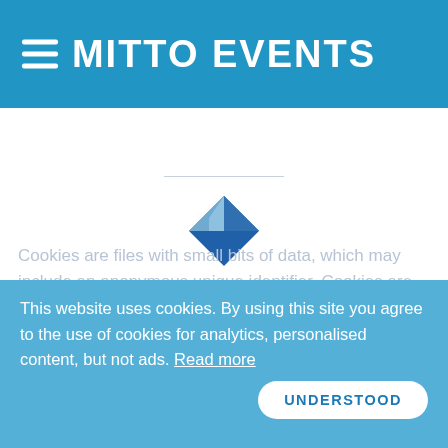MITTO EVENTS
[Figure (logo): Mitto Events diamond logo — blue geometric diamond shape made of overlapping facets]
Cookies are files with small bits of data, which may include an anonymous unique identifier. Cookies are sent to your browser from a web site and stored on your computer's hard drive.
Like many sites, we use "cookies" to collect information. You can instruct your browser to refuse all cookies or to indicate
This website uses cookies. By using this site you agree to the use of cookies for analytics, personalised content, but not ads. Read more
UNDERSTOOD